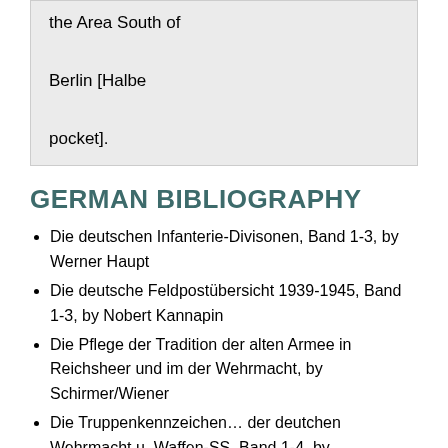the Area South of Berlin [Halbe pocket].
GERMAN BIBLIOGRAPHY
Die deutschen Infanterie-Divisonen, Band 1-3, by Werner Haupt
Die deutsche Feldpostübersicht 1939-1945, Band 1-3, by Nobert Kannapin
Die Pflege der Tradition der alten Armee in Reichsheer und im der Wehrmacht, by Schirmer/Wiener
Die Truppenkennzeichen… der deutchen Wehrmacht u. Waffen-SS, Band 1-4, by Schmitz/Thies